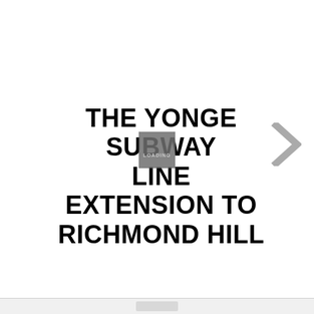THE YONGE SUBWAY LINE EXTENSION TO RICHMOND HILL